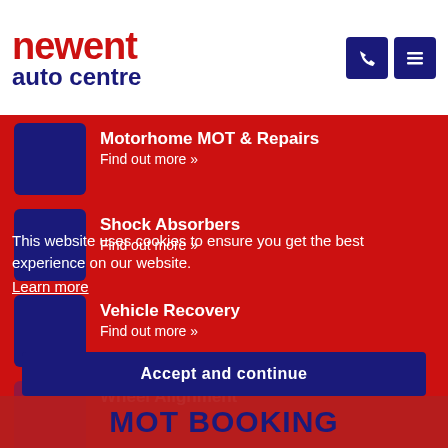[Figure (logo): Newent Auto Centre logo - red bold 'Newent' text with dark blue 'auto centre' text below]
Motorhome MOT & Repairs
Find out more »
Shock Absorbers
Find out more »
Vehicle Recovery
Find out more »
Wheel Alignment
Find out more »
Wheel Balancing
Find out more »
This website uses cookies to ensure you get the best experience on our website.
Learn more
Accept and continue
MOT BOOKING